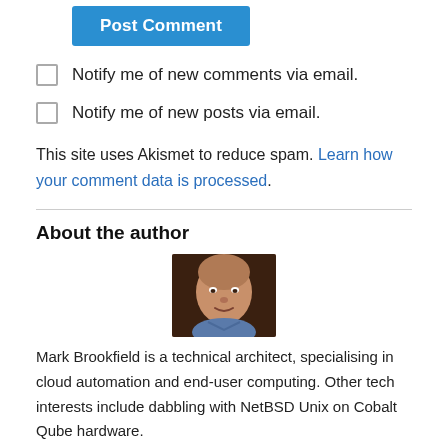Post Comment
Notify me of new comments via email.
Notify me of new posts via email.
This site uses Akismet to reduce spam. Learn how your comment data is processed.
About the author
[Figure (photo): Headshot photo of Mark Brookfield, a man with a shaved head wearing a blue shirt, smiling at the camera.]
Mark Brookfield is a technical architect, specialising in cloud automation and end-user computing. Other tech interests include dabbling with NetBSD Unix on Cobalt Qube hardware.